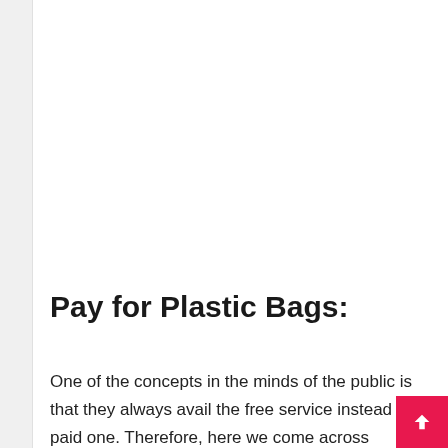Pay for Plastic Bags:
One of the concepts in the minds of the public is that they always avail the free service instead of a paid one. Therefore, here we come across